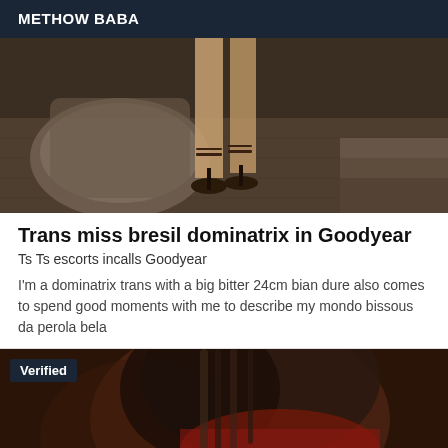METHOW BABA
[Figure (photo): Photo showing legs and high-heeled strappy sandals on stone pavement near a fountain base]
Trans miss bresil dominatrix in Goodyear
Ts Ts escorts incalls Goodyear
I'm a dominatrix trans with a big bitter 24cm bian dure also comes to spend good moments with me to describe my mondo bissous da perola bela
[Figure (photo): Photo of a person with dark hair wearing a red outfit, with a 'Verified' badge overlay in the top-left corner]